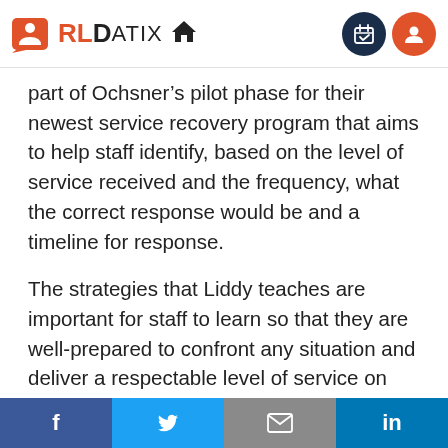RLDatix [home icon]
part of Ochsner’s pilot phase for their newest service recovery program that aims to help staff identify, based on the level of service received and the frequency, what the correct response would be and a timeline for response.
The strategies that Liddy teaches are important for staff to learn so that they are well-prepared to confront any situation and deliver a respectable level of service on behalf of the organization. Though Liddy
f  [twitter]  [email]  in